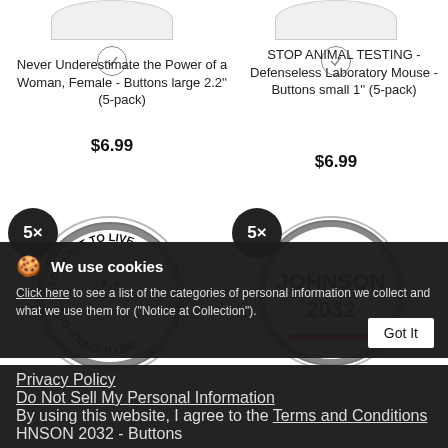[Figure (photo): Product card: Never Underestimate the Power of a Woman button pack. Checkmark circle icon above product title and price.]
Never Underestimate the Power of a Woman, Female - Buttons large 2.2'' (5-pack)
$6.99
[Figure (photo): Product card: STOP ANIMAL TESTING button pack. Checkmark circle icon above product title and price.]
STOP ANIMAL TESTING - Defenseless Laboratory Mouse - Buttons small 1'' (5-pack)
$6.99
[Figure (photo): Product image showing 5x badge and button with 'TOO FAST TO LIVE TOO YOUNG TO DIE' skull design.]
[Figure (photo): Product image showing 5x badge and button with 'JOHNSON 2032' text design.]
We use cookies
Click here to see a list of the categories of personal information we collect and what we use them for ("Notice at Collection").
Got It
Privacy Policy
Do Not Sell My Personal Information
By using this website, I agree to the Terms and Conditions
HNSON 2032 - Buttons